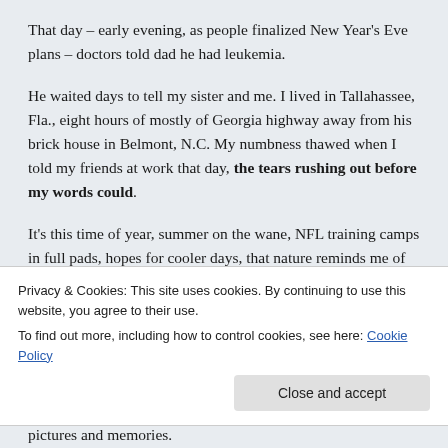That day – early evening, as people finalized New Year's Eve plans – doctors told dad he had leukemia.
He waited days to tell my sister and me. I lived in Tallahassee, Fla., eight hours of mostly of Georgia highway away from his brick house in Belmont, N.C. My numbness thawed when I told my friends at work that day, the tears rushing out before my words could.
It's this time of year, summer on the wane, NFL training camps in full pads, hopes for cooler days, that nature reminds me of what time of year means.
Privacy & Cookies: This site uses cookies. By continuing to use this website, you agree to their use.
To find out more, including how to control cookies, see here: Cookie Policy
Close and accept
pictures and memories.